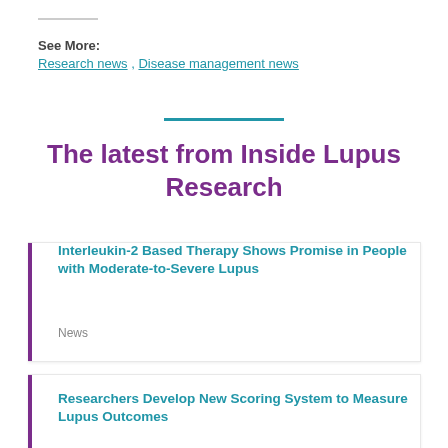See More:
Research news , Disease management news
The latest from Inside Lupus Research
Interleukin-2 Based Therapy Shows Promise in People with Moderate-to-Severe Lupus
News
Researchers Develop New Scoring System to Measure Lupus Outcomes